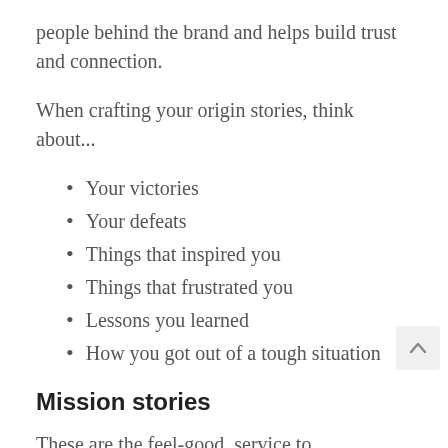people behind the brand and helps build trust and connection.
When crafting your origin stories, think about...
Your victories
Your defeats
Things that inspired you
Things that frustrated you
Lessons you learned
How you got out of a tough situation
Mission stories
These are the feel-good, service to